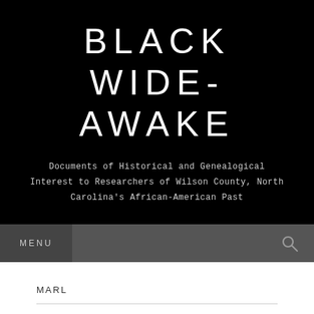BLACK WIDE-AWAKE
Documents of Historical and Genealogical Interest to Researchers of Wilson County, North Carolina's African-American Past
MENU
MARL
CALVIN BONE SUPPORTS HIS CLAIM.